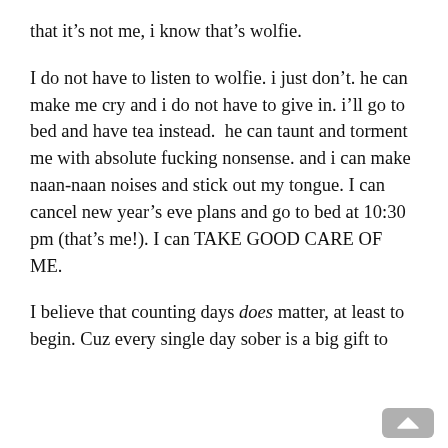that it's not me, i know that's wolfie.
I do not have to listen to wolfie. i just don't. he can make me cry and i do not have to give in. i'll go to bed and have tea instead.  he can taunt and torment me with absolute fucking nonsense. and i can make naan-naan noises and stick out my tongue. I can cancel new year's eve plans and go to bed at 10:30 pm (that's me!). I can TAKE GOOD CARE OF ME.
I believe that counting days does matter, at least to begin. Cuz every single day sober is a big gift to yourself. If you don't want to count, that's fine, i'll count for you or your phone app will count for you, but you're adding bricks to a wall, adding tools to a toolbox, and adding achievements and milestones. And they're worthy of note. They're worth being